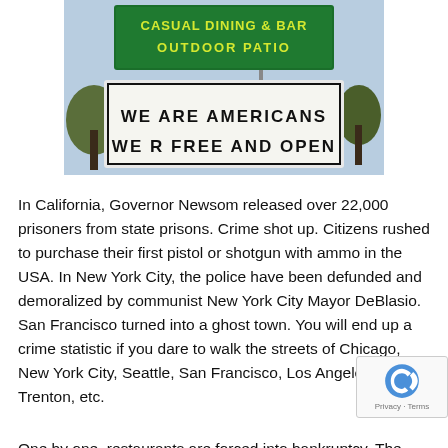[Figure (photo): A restaurant sign with a green top section reading 'CASUAL DINING & BAR / OUTDOOR PATIO' and a white marquee sign below reading 'WE ARE AMERICANS / WE R FREE AND OPEN']
In California, Governor Newsom released over 22,000 prisoners from state prisons. Crime shot up. Citizens rushed to purchase their first pistol or shotgun with ammo in the USA. In New York City, the police have been defunded and demoralized by communist New York City Mayor DeBlasio. San Francisco turned into a ghost town. You will end up a crime statistic if you dare to walk the streets of Chicago, New York City, Seattle, San Francisco, Los Angeles, Trenton, etc.
One by one, restaurants are forced into bankruptcy. The government tells them to erect outdoor tents. Then, the down. It costs lots of money for tents, heat lamps, etc. what